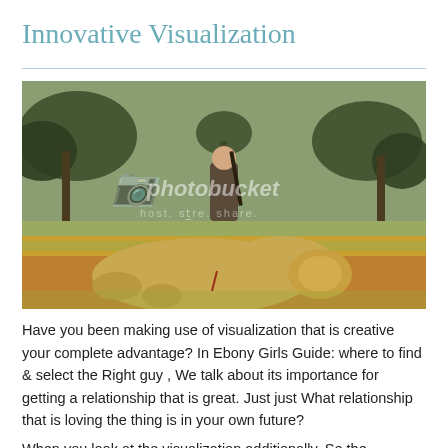Innovative Visualization
[Figure (photo): A man standing in a savanna/bush landscape holding a rifle, with a large lion lying dead in the foreground. Trees visible in background. Photobucket watermark overlay on image.]
Have you been making use of visualization that is creative your complete advantage? In Ebony Girls Guide: where to find & select the Right guy , We talk about its importance for getting a relationship that is great. Just just What relationship that is loving the thing is in your own future?
When you look at the visualization additionally, Se the...